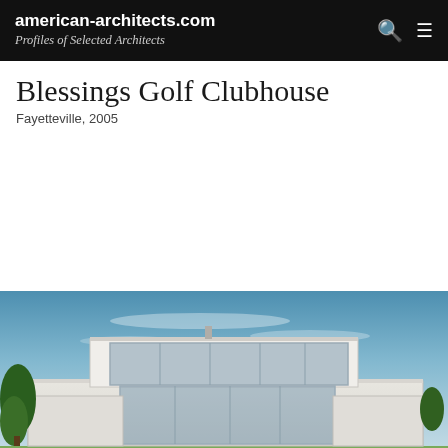american-architects.com
Profiles of Selected Architects
Blessings Golf Clubhouse
Fayetteville, 2005
[Figure (photo): Exterior photograph of the Blessings Golf Clubhouse in Fayetteville, 2005. Modern flat-roofed building with large glass facades, white/light grey structure, set against a blue sky. Trees visible on the left.]